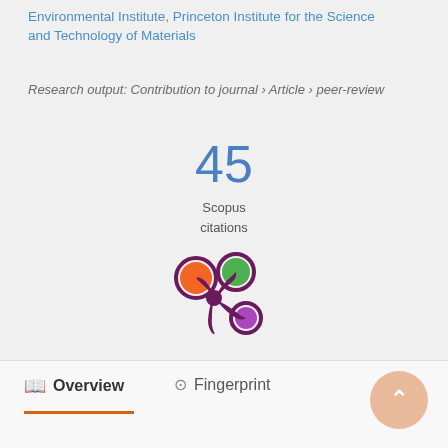Environmental Institute, Princeton Institute for the Science and Technology of Materials
Research output: Contribution to journal › Article › peer-review
45
Scopus
citations
[Figure (logo): Altmetric donut logo with orange, green, and purple circles connected by dark purple splat shape]
Overview
Fingerprint